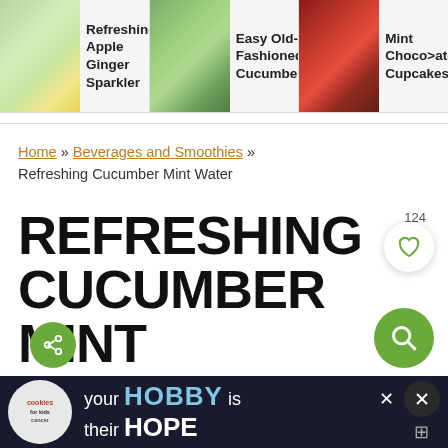[Figure (screenshot): Top navigation bar with three recipe thumbnails: Refreshing Apple Ginger Sparkler (drink with lemon/mint), Easy Old-Fashioned Cucumbers... (sliced cucumbers), Mint Chocolate Cupcakes (red velvet cupcakes)]
Home » Beverages and Smoothies » Refreshing Cucumber Mint Water
REFRESHING CUCUMBER MINT WATER
Published: Jul 1, 2013 · Modified: Feb 28, 2021 by Amee Livingston · As an Amazon
[Figure (screenshot): Advertisement banner at the bottom: cookies for kids cancer logo, text 'your HOBBY is their HOPE']